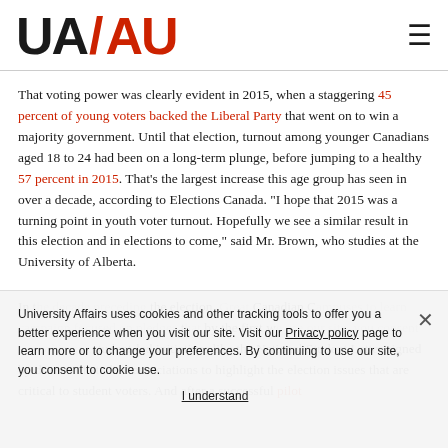UA / AU logo and navigation
That voting power was clearly evident in 2015, when a staggering 45 percent of young voters backed the Liberal Party that went on to win a majority government. Until that election, turnout among younger Canadians aged 18 to 24 had been on a long-term plunge, before jumping to a healthy 57 percent in 2015. That’s the largest increase this age group has seen in over a decade, according to Elections Canada. “I hope that 2015 was a turning point in youth voter turnout. Hopefully we see a similar result in this election and in elections to come,” said Mr. Brown, who studies at the University of Alberta.
In the decade preceding the election, Great Canadian Campuses to learn campaign focused on pledges by the first w student-led initiatives like the National Student Letter signed by dozens of student associations to highlight the election issues that are critical to student voters. And after a successful pilot
University Affairs uses cookies and other tracking tools to offer you a better experience when you visit our site. Visit our Privacy policy page to learn more or to change your preferences. By continuing to use our site, you consent to cookie use.
I understand